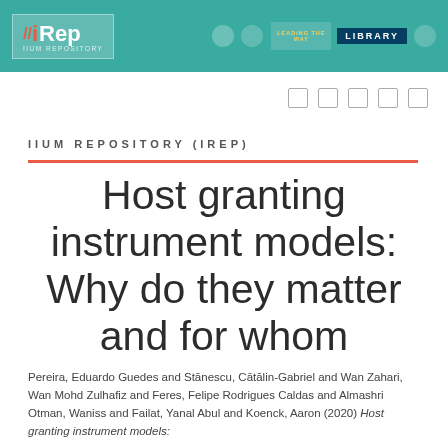[Figure (logo): IIUM Repository (IREP) header with teal background, IREP logo on left and university library badges on right]
IIUM REPOSITORY (IREP)
Host granting instrument models: Why do they matter and for whom
Pereira, Eduardo Guedes and Stānescu, Cātālin-Gabriel and Wan Zahari, Wan Mohd Zulhafiz and Feres, Felipe Rodrigues Caldas and Almashri Otman, Waniss and Failat, Yanal Abul and Koenck, Aaron (2020) Host granting instrument models: